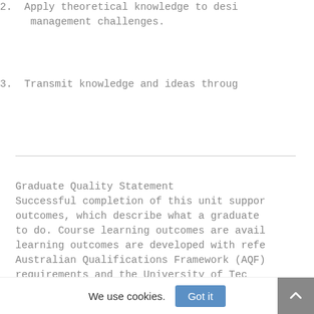2. Apply theoretical knowledge to desi management challenges.
3. Transmit knowledge and ideas throug
Graduate Quality Statement Successful completion of this unit suppor outcomes, which describe what a graduate to do. Course learning outcomes are avail learning outcomes are developed with refe Australian Qualifications Framework (AQF) requirements and the University of Tec...